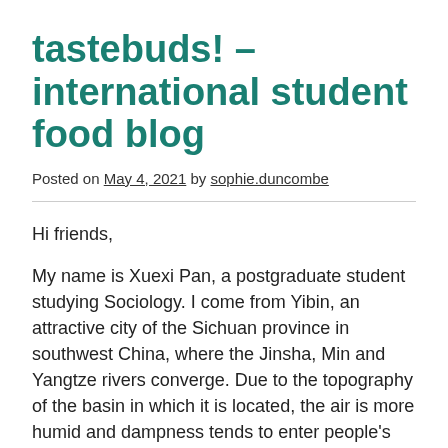tastebuds! – international student food blog
Posted on May 4, 2021 by sophie.duncombe
Hi friends,
My name is Xuexi Pan, a postgraduate student studying Sociology. I come from Yibin, an attractive city of the Sichuan province in southwest China, where the Jinsha, Min and Yangtze rivers converge. Due to the topography of the basin in which it is located, the air is more humid and dampness tends to enter people's body which is harmful. Eating chilies or